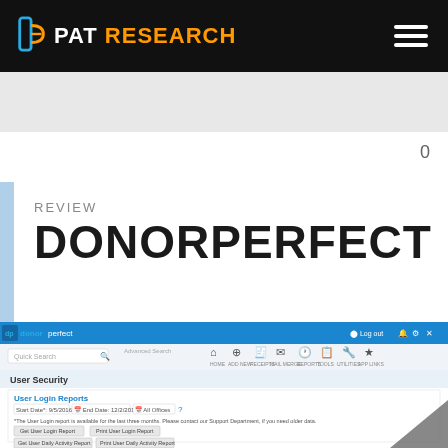PAT RESEARCH
0
REVIEW
DONORPERFECT
[Figure (screenshot): DonorPerfect software interface showing User Security section with User Login Reports, Named Users, navigation bar with Home, Add New, Receipts, Mail Merge, Reports, Tools, Utilities, App Links, and Log out button.]